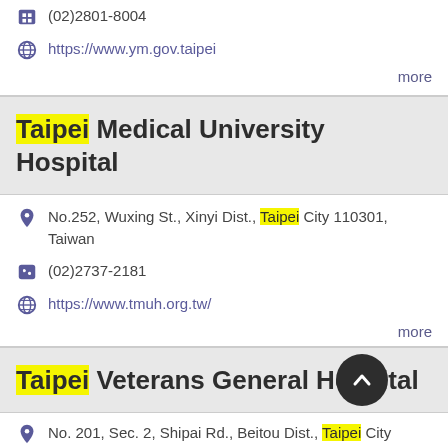(02)2801-8004
https://www.ym.gov.taipei
more
Taipei Medical University Hospital
No.252, Wuxing St., Xinyi Dist., Taipei City 110301, Taiwan
(02)2737-2181
https://www.tmuh.org.tw/
more
Taipei Veterans General Hospital
No. 201, Sec. 2, Shipai Rd., Beitou Dist., Taipei City 112201, Taiwan
(02)2871-2121
(02)2873-2131